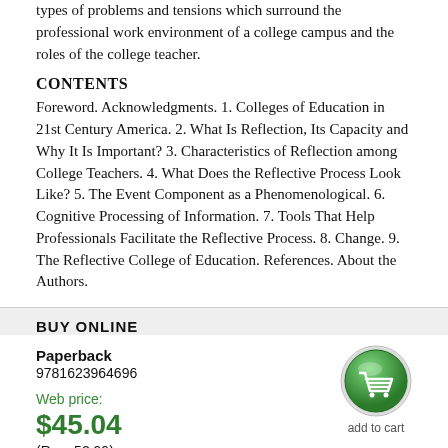types of problems and tensions which surround the professional work environment of a college campus and the roles of the college teacher.
CONTENTS
Foreword. Acknowledgments. 1. Colleges of Education in 21st Century America. 2. What Is Reflection, Its Capacity and Why It Is Important? 3. Characteristics of Reflection among College Teachers. 4. What Does the Reflective Process Look Like? 5. The Event Component as a Phenomenological. 6. Cognitive Processing of Information. 7. Tools That Help Professionals Facilitate the Reflective Process. 8. Change. 9. The Reflective College of Education. References. About the Authors.
BUY ONLINE
Paperback
9781623964696
Web price:
$45.04
(Reg. 52.99)
[Figure (illustration): Green circular add-to-cart button with shopping cart icon, with 'add to cart' label below]